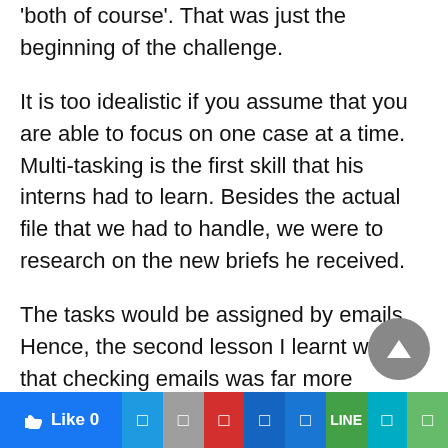'both of course'. That was just the beginning of the challenge.
It is too idealistic if you assume that you are able to focus on one case at a time. Multi-tasking is the first skill that his interns had to learn. Besides the actual file that we had to handle, we were to research on the new briefs he received.
The tasks would be assigned by emails. Hence, the second lesson I learnt was that checking emails was far more important than checking notifications on Facebook throughout the internship.
Like 0 | share buttons toolbar